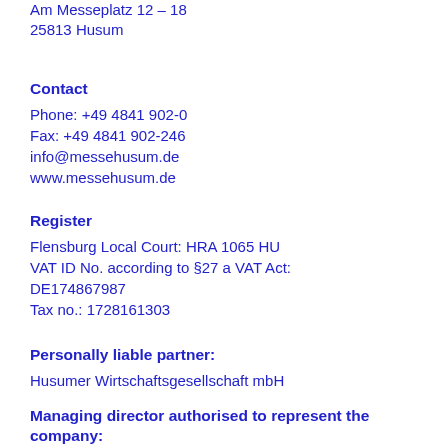Am Messeplatz 12 – 18
25813 Husum
Contact
Phone: +49 4841 902-0
Fax: +49 4841 902-246
info@messehusum.de
www.messehusum.de
Register
Flensburg Local Court: HRA 1065 HU
VAT ID No. according to §27 a VAT Act:
DE174867987
Tax no.: 1728161303
Personally liable partner:
Husumer Wirtschaftsgesellschaft mbH
Managing director authorised to represent the company:
Klaus Liermann